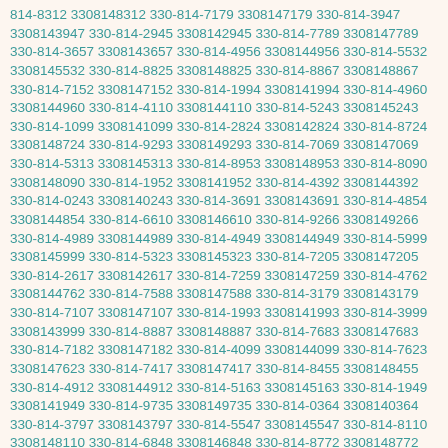814-8312 3308148312 330-814-7179 3308147179 330-814-3947 3308143947 330-814-2945 3308142945 330-814-7789 3308147789 330-814-3657 3308143657 330-814-4956 3308144956 330-814-5532 3308145532 330-814-8825 3308148825 330-814-8867 3308148867 330-814-7152 3308147152 330-814-1994 3308141994 330-814-4960 3308144960 330-814-4110 3308144110 330-814-5243 3308145243 330-814-1099 3308141099 330-814-2824 3308142824 330-814-8724 3308148724 330-814-9293 3308149293 330-814-7069 3308147069 330-814-5313 3308145313 330-814-8953 3308148953 330-814-8090 3308148090 330-814-1952 3308141952 330-814-4392 3308144392 330-814-0243 3308140243 330-814-3691 3308143691 330-814-4854 3308144854 330-814-6610 3308146610 330-814-9266 3308149266 330-814-4989 3308144989 330-814-4949 3308144949 330-814-5999 3308145999 330-814-5323 3308145323 330-814-7205 3308147205 330-814-2617 3308142617 330-814-7259 3308147259 330-814-4762 3308144762 330-814-7588 3308147588 330-814-3179 3308143179 330-814-7107 3308147107 330-814-1993 3308141993 330-814-3999 3308143999 330-814-8887 3308148887 330-814-7683 3308147683 330-814-7182 3308147182 330-814-4099 3308144099 330-814-7623 3308147623 330-814-7417 3308147417 330-814-8455 3308148455 330-814-4912 3308144912 330-814-5163 3308145163 330-814-1949 3308141949 330-814-9735 3308149735 330-814-0364 3308140364 330-814-3797 3308143797 330-814-5547 3308145547 330-814-8110 3308148110 330-814-6848 3308146848 330-814-8772 3308148772 330-814-8575 3308148575 330-814-1910 3308141910 330-814-0767 3308140767 330-814-5345 3308145345 330-814-2901 3308142901 330-814-5028 3308145028 330-814-8796 3308148796 330-814-9957